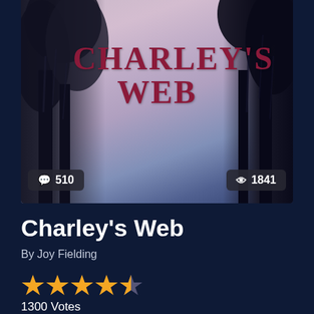[Figure (photo): Book cover of Charley's Web by Joy Fielding. Dark atmospheric cover with tree silhouettes against a purple-pink twilight sky. Title 'CHARLEY'S WEB' in large dark red serif letters. Two badges overlay the bottom: a speech bubble icon with '510' on the left, and an eye icon with '1841' on the right.]
Charley's Web
By Joy Fielding
[Figure (infographic): Star rating display: 4.5 out of 5 stars (4 full gold stars and 1 half gold star), with '1300 Votes' below.]